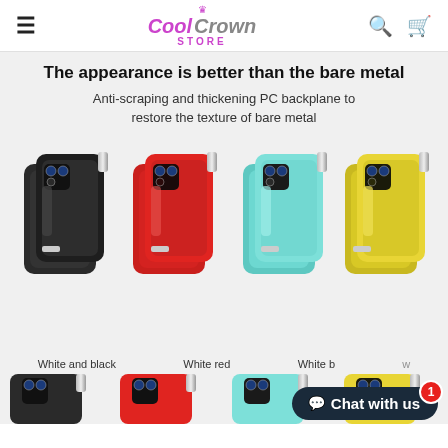Cool Crown STORE
The appearance is better than the bare metal
Anti-scraping and thickening PC backplane to restore the texture of bare metal
[Figure (photo): Four phone cases in colors: black, red, mint/cyan, and yellow, each shown with front and back views with silver clip attachment]
White and black   White red   White b[lue]   [Yello]w
[Figure (photo): Bottom portion of phone cases in same four colors, partially visible]